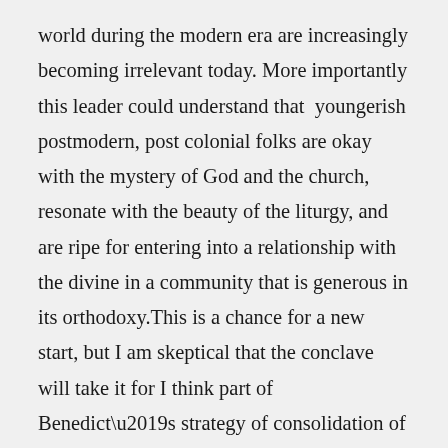world during the modern era are increasingly becoming irrelevant today. More importantly this leader could understand that  youngerish postmodern, post colonial folks are okay with the mystery of God and the church, resonate with the beauty of the liturgy, and are ripe for entering into a relationship with the divine in a community that is generous in its orthodoxy.This is a chance for a new start, but I am skeptical that the conclave will take it for I think part of Benedict’s strategy of consolidation of his theological and political power pretty much ensures a leadership that is invested in maintaining that expression of theological and political thought. Benedict shrewdly understood that his legacy would be found in creating a